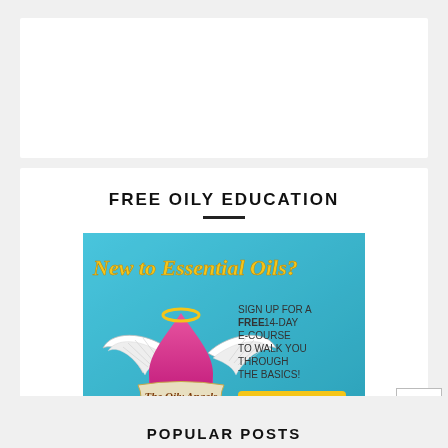FREE OILY EDUCATION
[Figure (illustration): Advertisement banner for 'The Oily Angels' free 14-day e-course on essential oils. Features a pink oil drop with angel wings and halo. Text reads: 'New to Essential Oils? SIGN UP FOR A FREE 14-DAY E-COURSE TO WALK YOU THROUGH THE BASICS!' with a yellow 'Register' button.]
Click the picture to sign up!